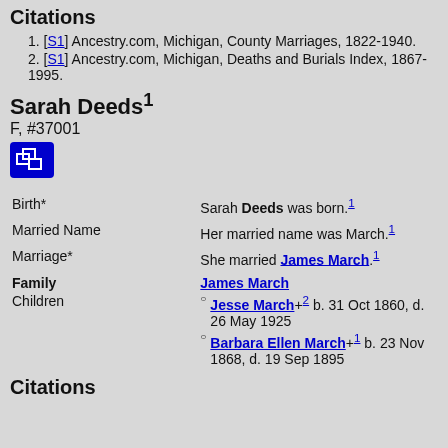Citations
1. [S1] Ancestry.com, Michigan, County Marriages, 1822-1940.
2. [S1] Ancestry.com, Michigan, Deaths and Burials Index, 1867-1995.
Sarah Deeds¹
F, #37001
| Field | Value |
| --- | --- |
| Birth* | Sarah Deeds was born.¹ |
| Married Name | Her married name was March.¹ |
| Marriage* | She married James March.¹ |
| Family | Children |
| --- | --- |
| Family | James March |
| Children | Jesse March+² b. 31 Oct 1860, d. 26 May 1925; Barbara Ellen March+¹ b. 23 Nov 1868, d. 19 Sep 1895 |
Citations